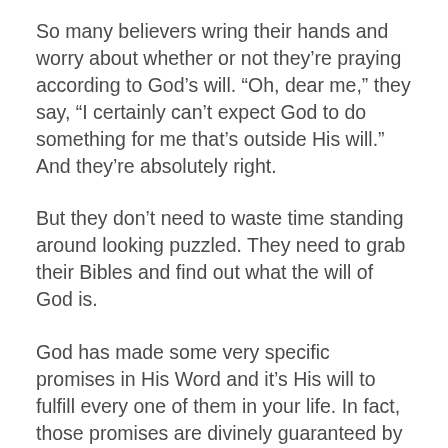So many believers wring their hands and worry about whether or not they're praying according to God's will. “Oh, dear me,” they say, “I certainly can’t expect God to do something for me that’s outside His will.” And they’re absolutely right.
But they don’t need to waste time standing around looking puzzled. They need to grab their Bibles and find out what the will of God is.
God has made some very specific promises in His Word and it’s His will to fulfill every one of them in your life. In fact, those promises are divinely guaranteed by a contract that’s been signed in the blood of Jesus.
Think of it this way. Your Bible is the last will and